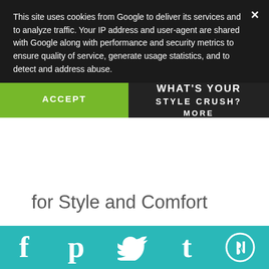This site uses cookies from Google to deliver its services and to analyze traffic. Your IP address and user-agent are shared with Google along with performance and security metrics to ensure quality of service, generate usage statistics, and to detect and address abuse.
ACCEPT
WHAT'S YOUR STYLE CRUSH? MORE
for Style and Comfort
[Figure (photo): Blonde woman outdoors near a marina, wearing a floral top]
[Figure (photo): Blonde woman indoors in a hotel or building interior, wearing a pink outfit]
Social share icons: Facebook, Pinterest, Twitter, Tumblr, Bloglovin